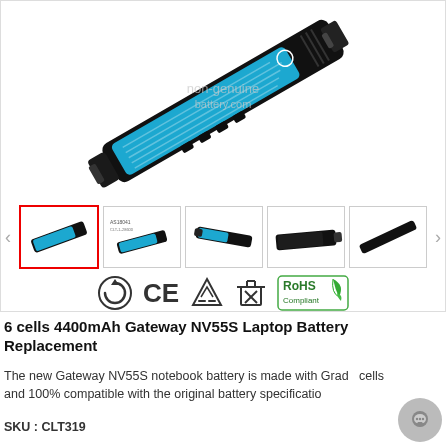[Figure (photo): Black and blue laptop battery (Acer/Gateway style) shown at an angle, with watermark text 'non-genuine battery.com']
[Figure (photo): Row of 5 thumbnail images of the laptop battery from different angles, with navigation arrows. First thumbnail selected with red border.]
[Figure (infographic): Certification badges: recycling symbol, CE mark, recycling triangle, crossed-box symbol, RoHS Compliant green leaf logo]
6 cells 4400mAh Gateway NV55S Laptop Battery Replacement
The new Gateway NV55S notebook battery is made with Grade cells and 100% compatible with the original battery specificatio
SKU : CLT319